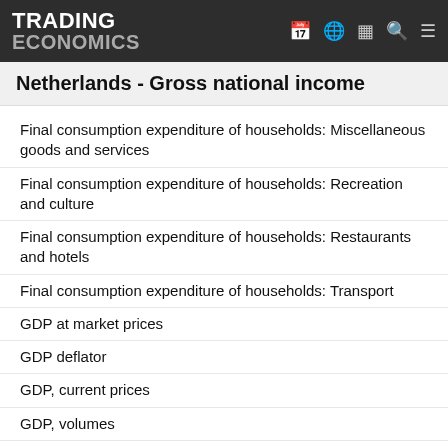TRADING ECONOMICS
Netherlands - Gross national income
Final consumption expenditure of households: Miscellaneous goods and services
Final consumption expenditure of households: Recreation and culture
Final consumption expenditure of households: Restaurants and hotels
Final consumption expenditure of households: Transport
GDP at market prices
GDP deflator
GDP, current prices
GDP, volumes
General gov. deficit (-) and surplus (+)
General gov. gross debt
General gov. gross debt (EDP concept), consolidated
Gov. final consumption expenditure, current prices
Gov. final consumption expenditure, volumes
Gross debt-to-income ratio of households: (AF4,